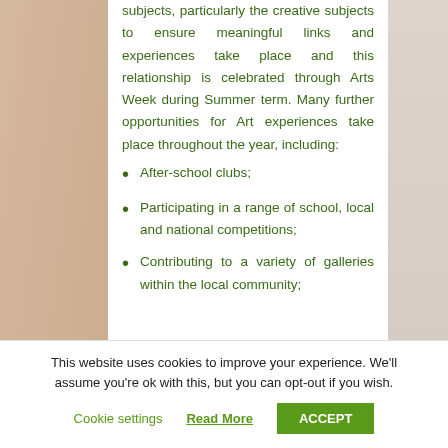subjects, particularly the creative subjects to ensure meaningful links and experiences take place and this relationship is celebrated through Arts Week during Summer term. Many further opportunities for Art experiences take place throughout the year, including:
After-school clubs;
Participating in a range of school, local and national competitions;
Contributing to a variety of galleries within the local community;
This website uses cookies to improve your experience. We'll assume you're ok with this, but you can opt-out if you wish.
Cookie settings | Read More | ACCEPT